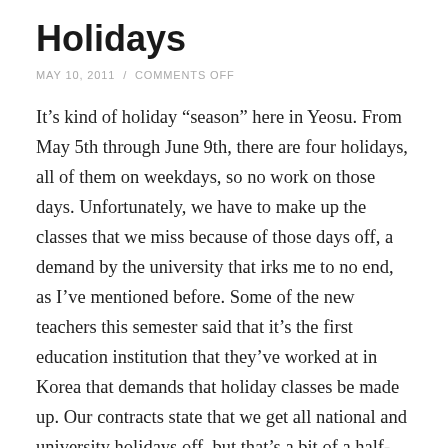Holidays
MAY 10, 2011 / COMMENTS OFF
It’s kind of holiday “season” here in Yeosu. From May 5th through June 9th, there are four holidays, all of them on weekdays, so no work on those days. Unfortunately, we have to make up the classes that we miss because of those days off, a demand by the university that irks me to no end, as I’ve mentioned before. Some of the new teachers this semester said that it’s the first education institution that they’ve worked at in Korea that demands that holiday classes be made up. Our contracts state that we get all national and university holidays off, but that’s a bit of a half-truth if we have to do the classes at another time. It’s kind of like your boss telling you “No, you don’t have to work on Thanksgiving Day, but you have to come in on Sunday to make up for it.”